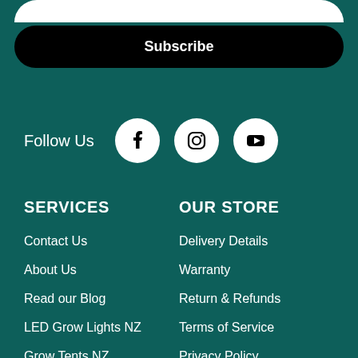Subscribe
Follow Us
[Figure (logo): Facebook icon circle]
[Figure (logo): Instagram icon circle]
[Figure (logo): YouTube play button icon circle]
SERVICES
OUR STORE
Contact Us
Delivery Details
About Us
Warranty
Read our Blog
Return & Refunds
LED Grow Lights NZ
Terms of Service
Grow Tents NZ
Privacy Policy